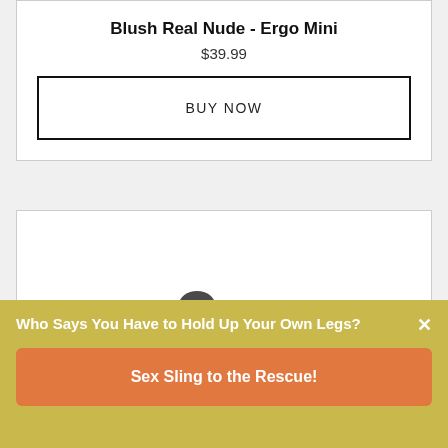Blush Real Nude - Ergo Mini
$39.99
BUY NOW
[Figure (photo): Dark gray small ergonomic vibrator product image, partially visible at bottom of card]
Who Says You Have to Hold Up Your Own Legs?
Sex Sling to the Rescue!